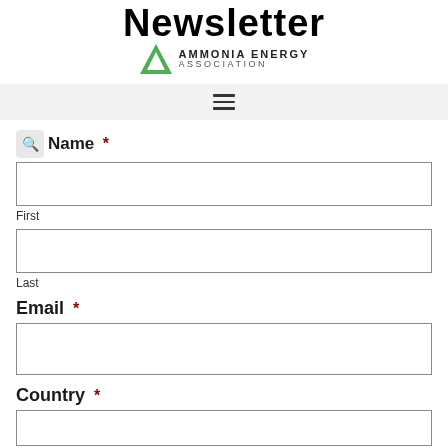Newsletter — Ammonia Energy Association
[Figure (logo): Ammonia Energy Association logo with green triangle and text]
Name *
First
Last
Email *
Country *